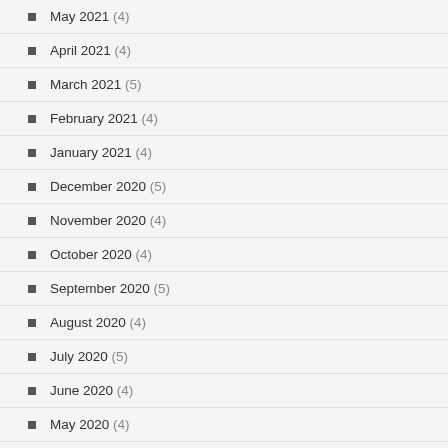May 2021 (4)
April 2021 (4)
March 2021 (5)
February 2021 (4)
January 2021 (4)
December 2020 (5)
November 2020 (4)
October 2020 (4)
September 2020 (5)
August 2020 (4)
July 2020 (5)
June 2020 (4)
May 2020 (4)
April 2020 (5)
March 2020 (4)